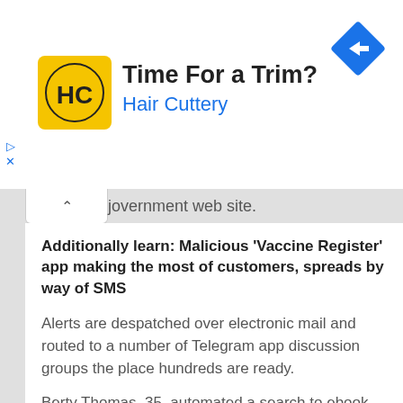[Figure (advertisement): Hair Cuttery ad banner with yellow logo showing HC letters, title 'Time For a Trim?' and subtitle 'Hair Cuttery' in blue, with navigation arrow icon on right]
government web site.
Additionally learn: Malicious 'Vaccine Register' app making the most of customers, spreads by way of SMS
Alerts are despatched over electronic mail and routed to a number of Telegram app discussion groups the place hundreds are ready.
Berty Thomas, 35, automated a search to ebook himself a slot then created a web site – under45.in – which checks for slots and sends